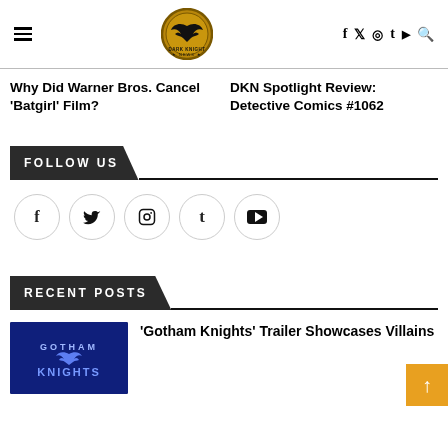Dark Knight News — navigation header with hamburger menu, logo, social icons (f, twitter, instagram, t, youtube, search)
Why Did Warner Bros. Cancel 'Batgirl' Film?
DKN Spotlight Review: Detective Comics #1062
FOLLOW US
[Figure (infographic): Social media icon circles: Facebook (f), Twitter (bird), Instagram (camera), Tumblr (t), YouTube (play button)]
RECENT POSTS
[Figure (photo): Gotham Knights game logo on dark blue background]
'Gotham Knights' Trailer Showcases Villains